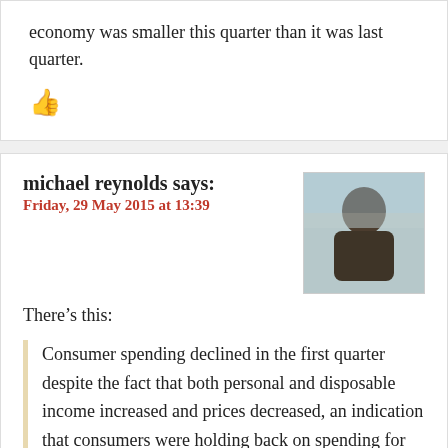economy was smaller this quarter than it was last quarter.
[Figure (illustration): Red thumbs up icon]
michael reynolds says:
Friday, 29 May 2015 at 13:39
[Figure (photo): Profile photo of michael reynolds — a person photographed from behind/side outdoors]
There’s this:
Consumer spending declined in the first quarter despite the fact that both personal and disposable income increased and prices decreased, an indication that consumers were holding back on spending for one reason or another.
And this:
Nearly half of managers believed high pay to be the driving factor in millennials’ careers. But just 27 percent of young professionals said high pay was the most important